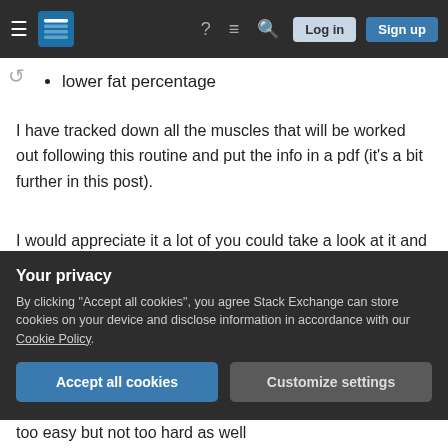Stack Exchange navigation bar with logo, help, chat, search, Log in, Sign up
lower fat percentage
I have tracked down all the muscles that will be worked out following this routine and put the info in a pdf (it's a bit further in this post).
I would appreciate it a lot of you could take a look at it and tell me what you think or if there are imbalances or muscles that I should be working out more/less.
I'm thinking to add some isolation exercises for my
Your privacy
By clicking "Accept all cookies", you agree Stack Exchange can store cookies on your device and disclose information in accordance with our Cookie Policy.
Accept all cookies   Customize settings
too easy but not too hard as well